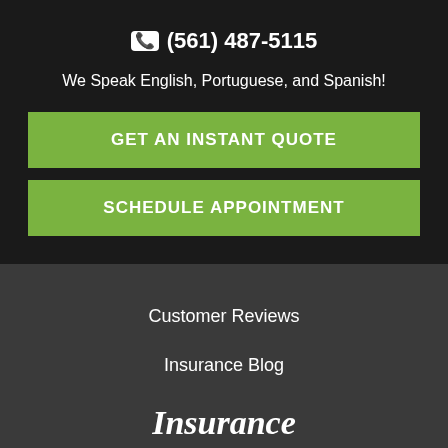📞 (561) 487-5115
We Speak English, Portuguese, and Spanish!
GET AN INSTANT QUOTE
SCHEDULE APPOINTMENT
Customer Reviews
Insurance Blog
Insurance
Auto, Home, & Personal Insurance